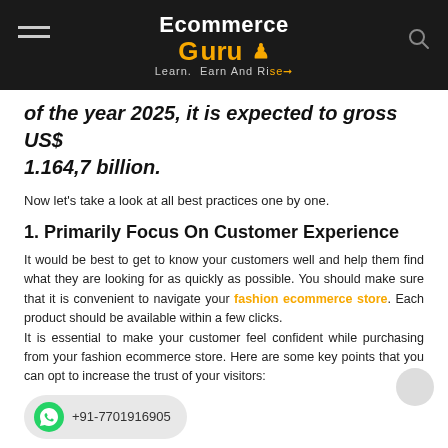Ecommerce Guru — Learn. Earn And Rise
of the year 2025, it is expected to gross US$ 1.164,7 billion.
Now let's take a look at all best practices one by one.
1. Primarily Focus On Customer Experience
It would be best to get to know your customers well and help them find what they are looking for as quickly as possible. You should make sure that it is convenient to navigate your fashion ecommerce store. Each product should be available within a few clicks. It is essential to make your customer feel confident while purchasing from your fashion ecommerce store. Here are some key points that you can opt to increase the trust of your visitors: